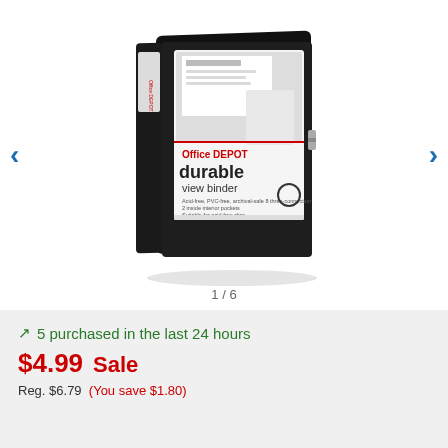[Figure (photo): Product photo of a black Office Depot durable view binder, showing the front cover with the Office Depot logo (red), 'durable view binder' text, and a white binder interior visible through the cover window.]
1 / 6
5 purchased in the last 24 hours
$4.99  Sale
Reg. $6.79  (You save $1.80)